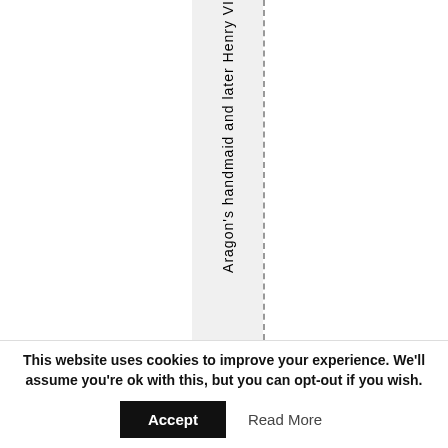Aragon's handmaid and later Henry VI
This website uses cookies to improve your experience. We'll assume you're ok with this, but you can opt-out if you wish. Accept  Read More